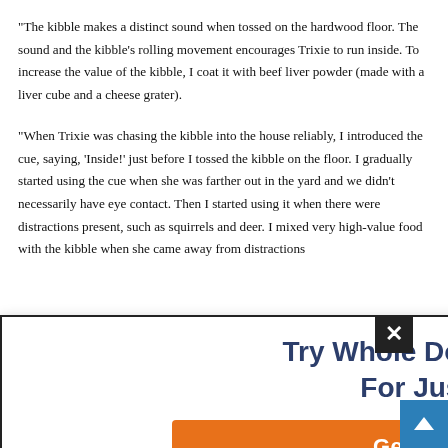“The kibble makes a distinct sound when tossed on the hardwood floor. The sound and the kibble’s rolling movement encourages Trixie to run inside. To increase the value of the kibble, I coat it with beef liver powder (made with a liver cube and a cheese grater).
“When Trixie was chasing the kibble into the house reliably, I introduced the cue, saying, ‘Inside!’ just before I tossed the kibble on the floor. I gradually started using the cue when she was farther out in the yard and we didn’t necessarily have eye contact. Then I started using it when there were distractions present, such as squirrels and deer. I mixed very high-value food with the kibble when she came away from distractions
[Figure (infographic): Promotional overlay popup for 'Try Whole Dog Journal For Just $1' with a 'Get Started' orange button and a close (X) button in the top right corner.]